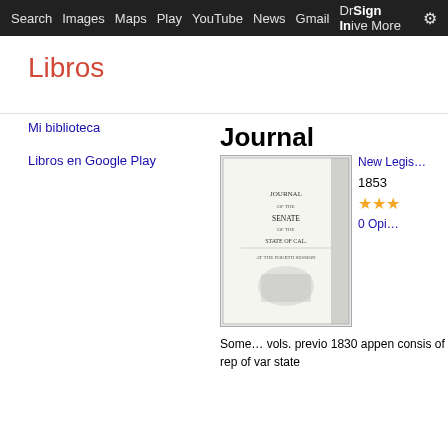Search  Images  Maps  Play  YouTube  News  Gmail  Drive  More  Sign In  ⚙
Libros
Mi biblioteca
Libros en Google Play
Journal
[Figure (photo): Book cover thumbnail of 'Journal of the Senate of California, 1853']
New Legis…
1853
★★★
0 Opi…
Some… vols. previo 1830 appen consis of rep of var state